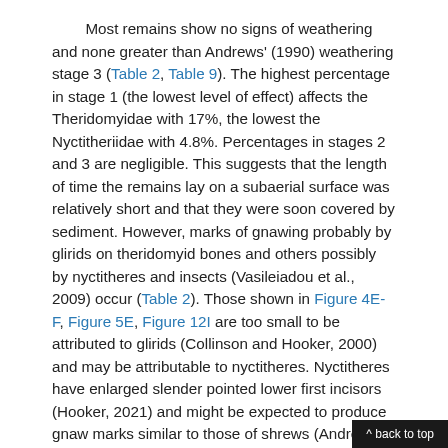Most remains show no signs of weathering and none greater than Andrews' (1990) weathering stage 3 (Table 2, Table 9). The highest percentage in stage 1 (the lowest level of effect) affects the Theridomyidae with 17%, the lowest the Nyctitheriidae with 4.8%. Percentages in stages 2 and 3 are negligible. This suggests that the length of time the remains lay on a subaerial surface was relatively short and that they were soon covered by sediment. However, marks of gnawing probably by glirids on theridomyid bones and others possibly by nyctitheres and insects (Vasileiadou et al., 2009) occur (Table 2). Those shown in Figure 4E-F, Figure 5E, Figure 12I are too small to be attributed to glirids (Collinson and Hooker, 2000) and may be attributable to nyctitheres. Nyctitheres have enlarged slender pointed lower first incisors (Hooker, 2021) and might be expected to produce gnaw marks similar to those of shrews (Andrews, 1990, figure 1.3E-F; Fernández-Jalvo and Andrews, 2016, figures A174, A175, A183). Even finer more randomly orientated gnaw marks shown on a glirid tooth root (Figure 5B-C) resemble in arrangement those attributed to insects from the Oligocene site of Detan, Czech Republic (Fejfar and Kaiser, 2005). This shows tha
^ back to top